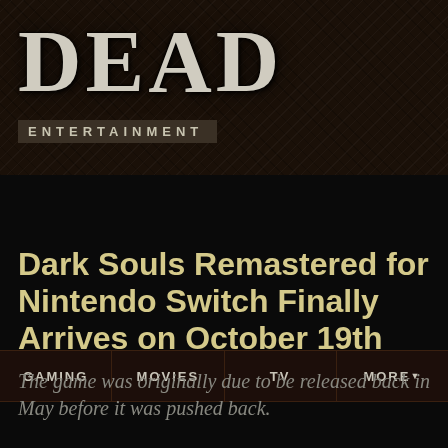[Figure (logo): DEAD Entertainment logo on dark textured background]
GAMING   MOVIES   TV   MORE
Dark Souls Remastered for Nintendo Switch Finally Arrives on October 19th
The game was originally due to be released back in May before it was pushed back.